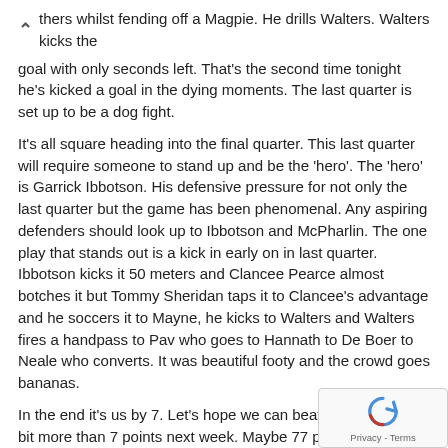thers whilst fending off a Magpie. He drills Walters. Walters kicks the goal with only seconds left. That's the second time tonight he's kicked a goal in the dying moments. The last quarter is set up to be a dog fight.
It's all square heading into the final quarter. This last quarter will require someone to stand up and be the 'hero'. The 'hero' is Garrick Ibbotson. His defensive pressure for not only the last quarter but the game has been phenomenal. Any aspiring defenders should look up to Ibbotson and McPharlin. The one play that stands out is a kick in early on in last quarter. Ibbotson kicks it 50 meters and Clancee Pearce almost botches it but Tommy Sheridan taps it to Clancee's advantage and he soccers it to Mayne, he kicks to Walters and Walters fires a handpass to Pav who goes to Hannath to De Boer to Neale who converts. It was beautiful footy and the crowd goes bananas.
In the end it's us by 7. Let's hope we can beat the Lions by a bit more than 7 points next week. Maybe 77 points or 7 goals. The 'Hot Coales Award' for BOG (thanks Mr Vickery) goes to number 7, 'The Future', Nat Fyfe.
Fremantle 3.2 7.4 9.6 12.8 (80)
Collingwood 3.4 7.6 9.6 11.7 (73)
Goals
Fremantle: Walters 4, Fyfe 2, Hill 2, Ballantyne, Barlow, C Pearce, N
Collingwood: Elliott 2, Fasolo 2, Broomhead, Pendlebury, Adams, de Goey,